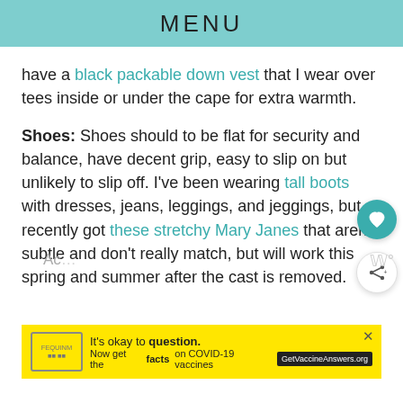MENU
have a black packable down vest that I wear over tees inside or under the cape for extra warmth.
Shoes: Shoes should to be flat for security and balance, have decent grip, easy to slip on but unlikely to slip off. I've been wearing tall boots with dresses, jeans, leggings, and jeggings, but recently got these stretchy Mary Janes that aren't subtle and don't really match, but will work this spring and summer after the cast is removed.
[Figure (infographic): COVID-19 vaccine ad banner: yellow background with stamp graphic, text 'It's okay to question. Now get the facts on COVID-19 vaccines' with GetVaccineAnswers.org button]